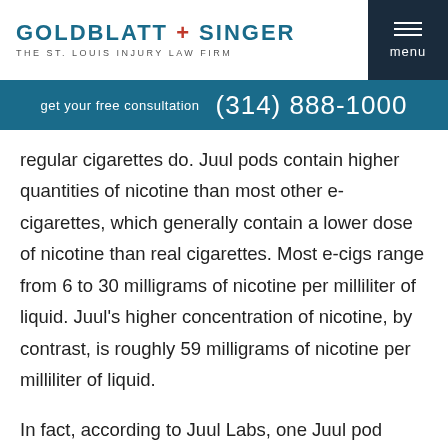[Figure (logo): Goldblatt + Singer law firm logo with tagline 'The St. Louis Injury Law Firm']
get your free consultation  (314) 888-1000
regular cigarettes do. Juul pods contain higher quantities of nicotine than most other e-cigarettes, which generally contain a lower dose of nicotine than real cigarettes. Most e-cigs range from 6 to 30 milligrams of nicotine per milliliter of liquid. Juul's higher concentration of nicotine, by contrast, is roughly 59 milligrams of nicotine per milliliter of liquid.
In fact, according to Juul Labs, one Juul pod contains about the same amount of nicotine as one pack of